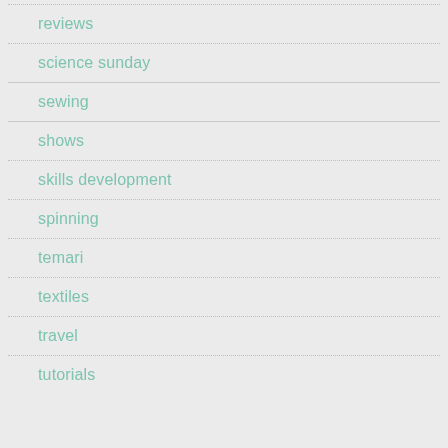reviews
science sunday
sewing
shows
skills development
spinning
temari
textiles
travel
tutorials